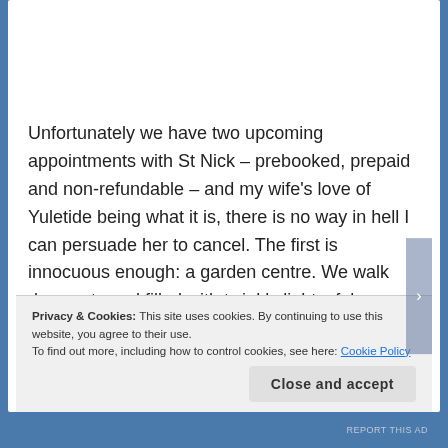Unfortunately we have two upcoming appointments with St Nick – prebooked, prepaid and non-refundable – and my wife's love of Yuletide being what it is, there is no way in hell I can persuade her to cancel. The first is innocuous enough: a garden centre. We walk down a tunnel filled with twinkly lights, fake snow and geographically mismatched
Privacy & Cookies: This site uses cookies. By continuing to use this website, you agree to their use.
To find out more, including how to control cookies, see here: Cookie Policy
Close and accept